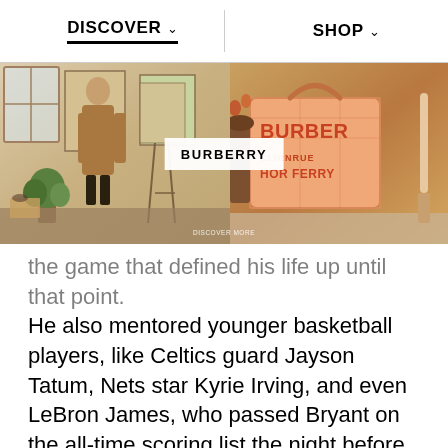DISCOVER   SHOP
[Figure (photo): Burberry advertisement banner showing two scenes: left side with a woman in a brown coat in an art studio, right side showing a Burberry orange handbag with brand text. Center overlay shows 'BURBERRY' label and 'DISCOVER MORE' text at bottom.]
the game that defined his life up until that point. He also mentored younger basketball players, like Celtics guard Jayson Tatum, Nets star Kyrie Irving, and even LeBron James, who passed Bryant on the all-time scoring list the night before his death.